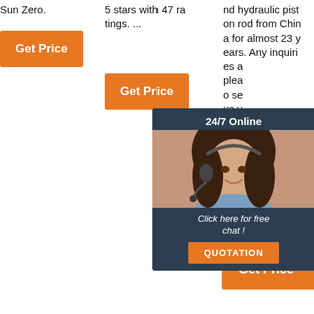Sun Zero.
Get Price
5 stars with 47 ratings. ...
Get Price
nd hydraulic piston rod from China for almost 23 years. Any inquiries and please o send us with b-st will hin y.
[Figure (screenshot): Chat widget overlay showing a customer service representative with headset, '24/7 Online' header, 'Click here for free chat!' text, and an orange QUOTATION button]
Get Price